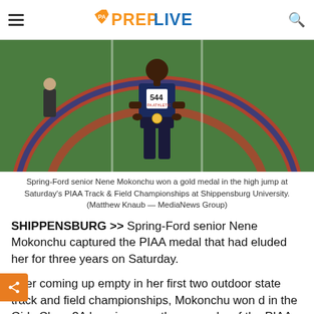PA PrepLive
[Figure (photo): Spring-Ford senior Nene Mokonchu wearing bib number 544 and a gold medal, standing on a track field with blue and red turf markings, hands on hips.]
Spring-Ford senior Nene Mokonchu won a gold medal in the high jump at Saturday's PIAA Track & Field Championships at Shippensburg University. (Matthew Knaub — MediaNews Group)
SHIPPENSBURG >> Spring-Ford senior Nene Mokonchu captured the PIAA medal that had eluded her for three years on Saturday.
After coming up empty in her first two outdoor state track and field championships, Mokonchu won d in the Girls Class 3A long jump on the second y of the PIAA Track and Field Championships at